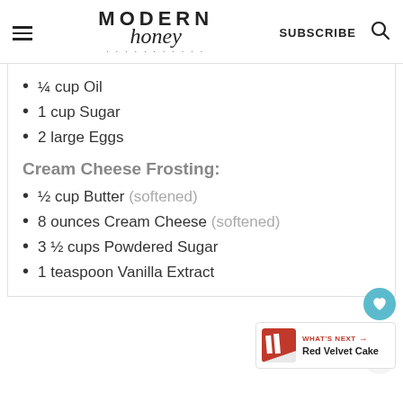MODERN honey — SUBSCRIBE
¼ cup Oil
1 cup Sugar
2 large Eggs
Cream Cheese Frosting:
½ cup Butter (softened)
8 ounces Cream Cheese (softened)
3 ½ cups Powdered Sugar
1 teaspoon Vanilla Extract